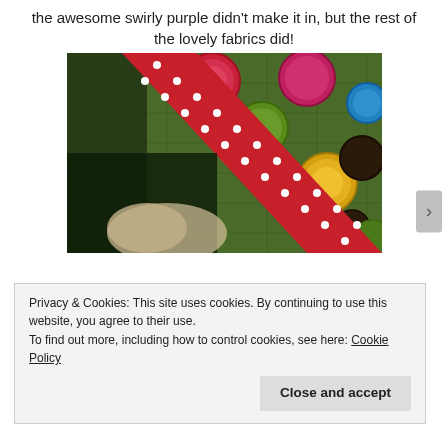the awesome swirly purple didn't make it in, but the rest of the lovely fabrics did!
[Figure (photo): Close-up photo of a colorful quilt with circular fabric patches in red, pink, green, yellow, blue, and dark brown on a green background, with a red and white polka dot binding/ribbon running diagonally across the image.]
Privacy & Cookies: This site uses cookies. By continuing to use this website, you agree to their use.
To find out more, including how to control cookies, see here: Cookie Policy
Close and accept